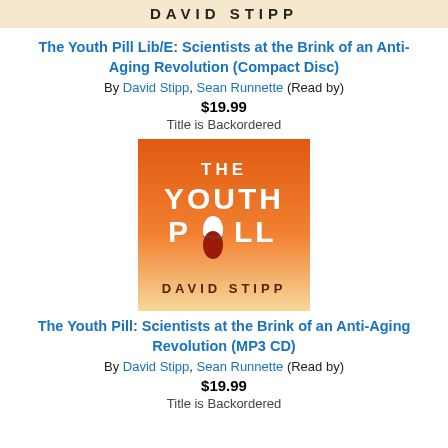DAVID STIPP
The Youth Pill Lib/E: Scientists at the Brink of an Anti-Aging Revolution (Compact Disc)
By David Stipp, Sean Runnette (Read by)
$19.99
Title is Backordered
[Figure (illustration): Book cover for The Youth Pill by David Stipp. Orange-to-cream gradient background with white bold text 'THE YOUTH PILL' and an image of a pill, with 'DAVID STIPP' at the bottom.]
The Youth Pill: Scientists at the Brink of an Anti-Aging Revolution (MP3 CD)
By David Stipp, Sean Runnette (Read by)
$19.99
Title is Backordered